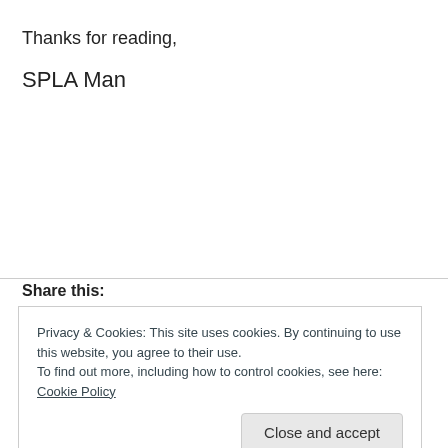Thanks for reading,
SPLA Man
Share this:
Privacy & Cookies: This site uses cookies. By continuing to use this website, you agree to their use.
To find out more, including how to control cookies, see here: Cookie Policy
Close and accept